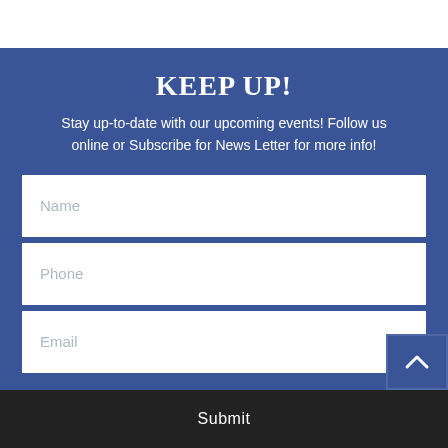KEEP UP!
Stay up-to-date with our upcoming events! Follow us online or Subscribe for News Letter for more info!
Name
Phone
Email
Submit